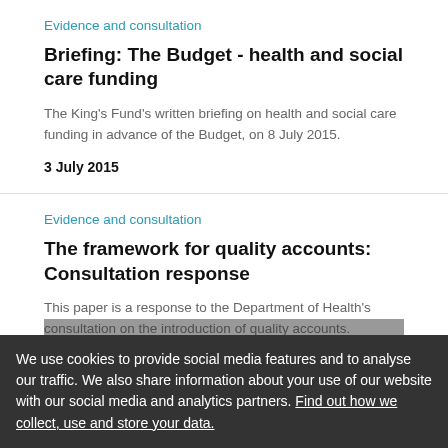Evidence and consultation
Briefing: The Budget - health and social care funding
The King's Fund's written briefing on health and social care funding in advance of the Budget, on 8 July 2015.
3 July 2015
Evidence and consultation
The framework for quality accounts: Consultation response
This paper is a response to the Department of Health's consultation on the introduction of quality accounts.
10 December 2009
We use cookies to provide social media features and to analyse our traffic. We also share information about your use of our website with our social media and analytics partners. Find out how we collect, use and store your data.